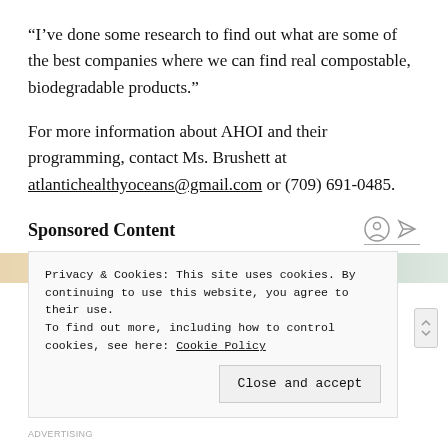“I’ve done some research to find out what are some of the best companies where we can find real compostable, biodegradable products.”
For more information about AHOI and their programming, contact Ms. Brushett at atlantichealthyoceans@gmail.com or (709) 691-0485.
Sponsored Content
[Figure (photo): Partial view of a sponsored content image strip]
Privacy & Cookies: This site uses cookies. By continuing to use this website, you agree to their use.
To find out more, including how to control cookies, see here: Cookie Policy